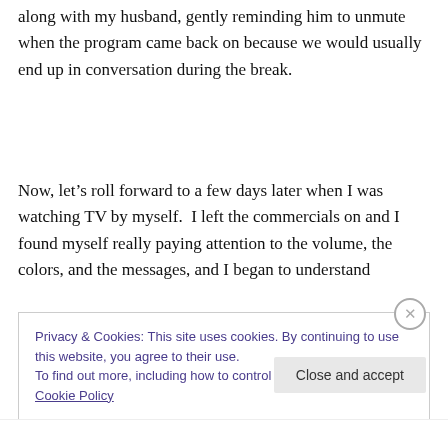along with my husband, gently reminding him to unmute when the program came back on because we would usually end up in conversation during the break.
Now, let’s roll forward to a few days later when I was watching TV by myself.  I left the commercials on and I found myself really paying attention to the volume, the colors, and the messages, and I began to understand
Privacy & Cookies: This site uses cookies. By continuing to use this website, you agree to their use.
To find out more, including how to control cookies, see here: Cookie Policy